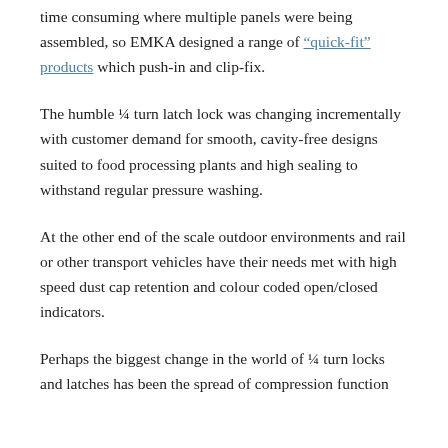time consuming where multiple panels were being assembled, so EMKA designed a range of "quick-fit" products which push-in and clip-fix.
The humble ¼ turn latch lock was changing incrementally with customer demand for smooth, cavity-free designs suited to food processing plants and high sealing to withstand regular pressure washing.
At the other end of the scale outdoor environments and rail or other transport vehicles have their needs met with high speed dust cap retention and colour coded open/closed indicators.
Perhaps the biggest change in the world of ¼ turn locks and latches has been the spread of compression function